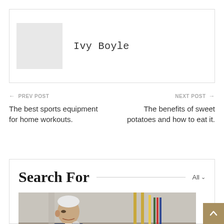[Figure (other): Author avatar placeholder (grey square)]
Ivy Boyle
← PREV POST
The best sports equipment for home workouts.
NEXT POST →
The benefits of sweet potatoes and how to eat it.
Search For
All ∨
[Figure (photo): Photo of Joe Biden speaking at an event, with golden decorative elements in the background]